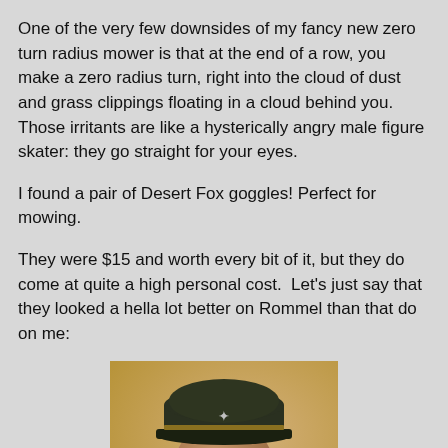One of the very few downsides of my fancy new zero turn radius mower is that at the end of a row, you make a zero radius turn, right into the cloud of dust and grass clippings floating in a cloud behind you. Those irritants are like a hysterically angry male figure skater: they go straight for your eyes.
I found a pair of Desert Fox goggles! Perfect for mowing.
They were $15 and worth every bit of it, but they do come at quite a high personal cost.  Let's just say that they looked a hella lot better on Rommel than that do on me:
[Figure (photo): A military officer wearing a dark green peaked cap with an eagle insignia and large reflective desert-style goggles, against a warm sandy/tan background. The figure appears to be Rommel or a portrayal thereof.]